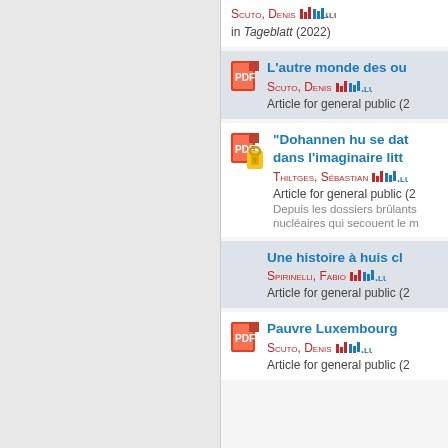Scuto, Denis — in Tageblatt (2022)
L'autre monde des ou... — Scuto, Denis — Article for general public (2...
"Dohannen hu se dat... dans l'imaginaire litt... — Thiltges, Sébastian — Article for general public (2...) — Depuis les dossiers brûlants nucléaires qui secouent le m...
Une histoire à huis cl... — Spirinelli, Fabio — Article for general public (2...
Pauvre Luxembourg... — Scuto, Denis — Article for general public (2...